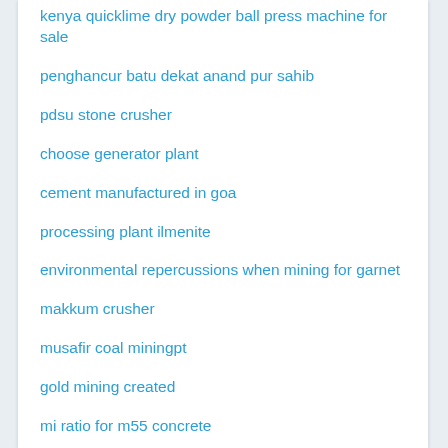kenya quicklime dry powder ball press machine for sale
penghancur batu dekat anand pur sahib
pdsu stone crusher
choose generator plant
cement manufactured in goa
processing plant ilmenite
environmental repercussions when mining for garnet
makkum crusher
musafir coal miningpt
gold mining created
mi ratio for m55 concrete
today gold rate joy alukkas in saudi arabia
jcb crushing house sound in mp
mable zincon crushing plant